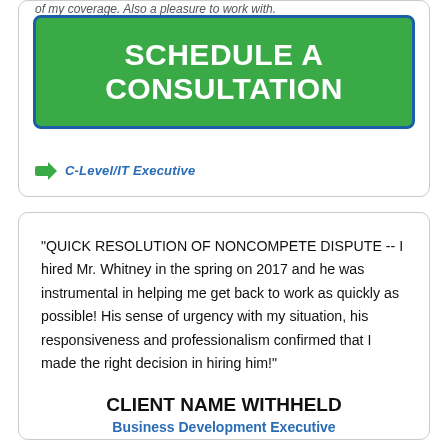of my coverage. Also a pleasure to work with.
[Figure (other): Green button with blue border reading SCHEDULE A CONSULTATION]
C-Level/IT Executive
"QUICK RESOLUTION OF NONCOMPETE DISPUTE -- I hired Mr. Whitney in the spring on 2017 and he was instrumental in helping me get back to work as quickly as possible! His sense of urgency with my situation, his responsiveness and professionalism confirmed that I made the right decision in hiring him!"
CLIENT NAME WITHHELD
Business Development Executive